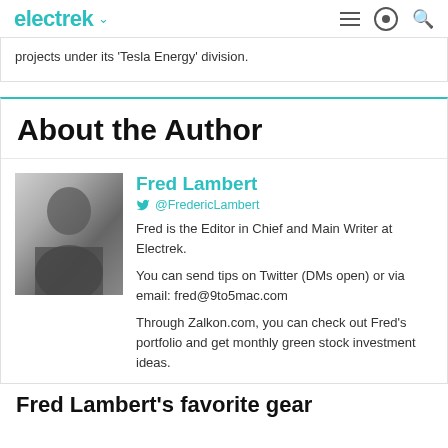electrek
projects under its 'Tesla Energy' division.
About the Author
Fred Lambert
@FredericLambert
Fred is the Editor in Chief and Main Writer at Electrek.
You can send tips on Twitter (DMs open) or via email: fred@9to5mac.com
Through Zalkon.com, you can check out Fred's portfolio and get monthly green stock investment ideas.
Fred Lambert's favorite gear